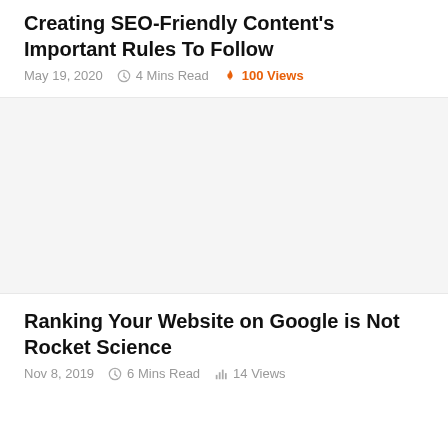Creating SEO-Friendly Content's Important Rules To Follow
May 19, 2020   4 Mins Read   100 Views
[Figure (photo): Placeholder image area for article thumbnail]
Ranking Your Website on Google is Not Rocket Science
Nov 8, 2019   6 Mins Read   14 Views